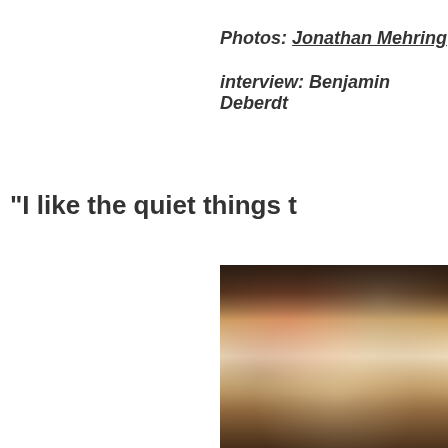Photos: Jonathan Mehring
interview: Benjamin Deberdt
"I like the quiet things t
[Figure (photo): A young man in a white t-shirt tilting his head back and eating something, with bar/restaurant photos and memorabilia visible on the wall behind him including a large pink heart decoration. The photo is cropped at the right side of the page.]